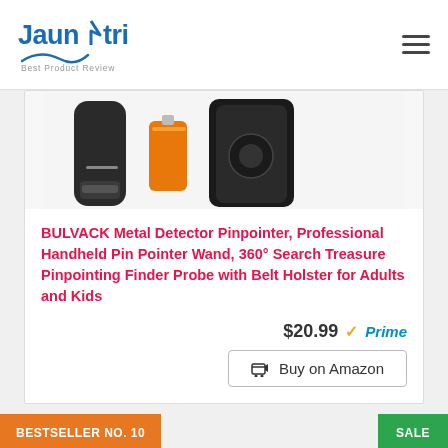Jaunatri — Best Product Review
[Figure (photo): Photo of BULVACK Metal Detector Pinpointer product — black handheld device with orange battery and black leather holster on white background]
BULVACK Metal Detector Pinpointer, Professional Handheld Pin Pointer Wand, 360° Search Treasure Pinpointing Finder Probe with Belt Holster for Adults and Kids
$20.99 ✓Prime
Buy on Amazon
BESTSELLER NO. 10
SALE
[Figure (photo): Photo of product — orange and black survival tool items on white background]